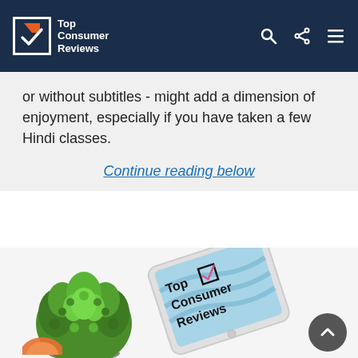Top Consumer Reviews
or without subtitles - might add a dimension of enjoyment, especially if you have taken a few Hindi classes.
Continue reading below
[Figure (photo): A green succulent plant in a small pot viewed from above, and a tablet displaying the Top Consumer Reviews logo, both on a light background. A scroll-to-top button (dark circle with upward chevron) is visible in the lower right. A partial orange/pink circular logo is visible at the very bottom left.]